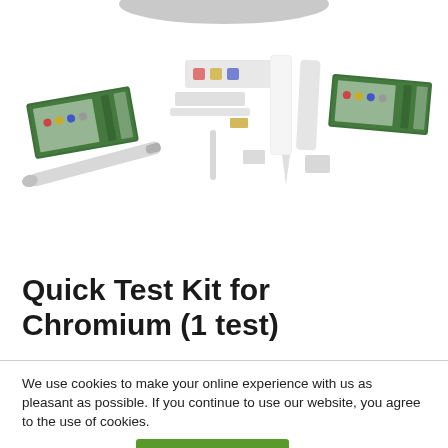[Figure (photo): Product photo showing Quick Test Kit for Chromium - green product boxes with colored dots, test strips, and applicator/pen components arranged on white background. A gray strip is visible at the very top.]
Quick Test Kit for Chromium (1 test)
We use cookies to make your online experience with us as pleasant as possible. If you continue to use our website, you agree to the use of cookies.
Cookie settings
Accept & continue